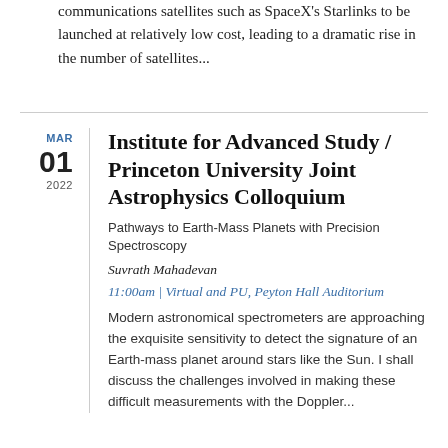communications satellites such as SpaceX's Starlinks to be launched at relatively low cost, leading to a dramatic rise in the number of satellites...
Institute for Advanced Study / Princeton University Joint Astrophysics Colloquium
Pathways to Earth-Mass Planets with Precision Spectroscopy
Suvrath Mahadevan
11:00am | Virtual and PU, Peyton Hall Auditorium
Modern astronomical spectrometers are approaching the exquisite sensitivity to detect the signature of an Earth-mass planet around stars like the Sun. I shall discuss the challenges involved in making these difficult measurements with the Doppler...